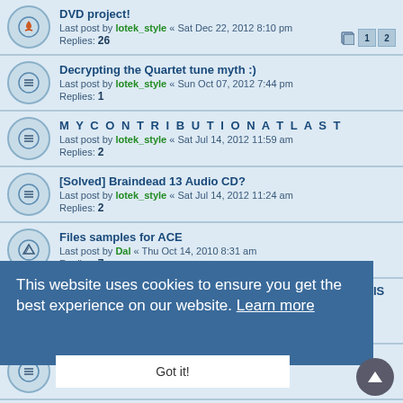DVD project! — Last post by lotek_style « Sat Dec 22, 2012 8:10 pm — Replies: 26
Decrypting the Quartet tune myth :) — Last post by lotek_style « Sun Oct 07, 2012 7:44 pm — Replies: 1
M Y C O N T R I B U T I O N A T L A S T — Last post by lotek_style « Sat Jul 14, 2012 11:59 am — Replies: 2
[Solved] Braindead 13 Audio CD? — Last post by lotek_style « Sat Jul 14, 2012 11:24 am — Replies: 2
Files samples for ACE — Last post by Dal « Thu Oct 14, 2010 8:31 am — Replies: 7
CONCERTO > V1.4 PLEASE TO BUY??? OR FREE AS IT IS ... — Last post by simbo « Thu Sep 23, 2010 5:07 pm — Replies: 1
Mirrors ? — Replies: 6
An Cool - M Demo 4 musics - Somebody wanna convert them? — Last post by lotek_style « Sat Mar 08, 2008 7:29 am — Replies: 8
Composerlist for FADING TWILIGHT - CD 12 - INFOS
This website uses cookies to ensure you get the best experience on our website. Learn more
Got it!